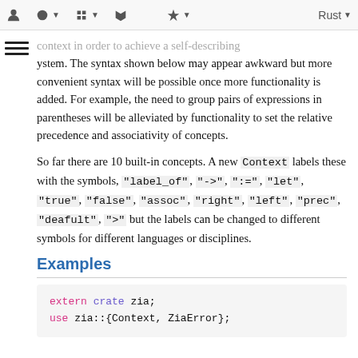[toolbar icons] Rust ▼
context in order to achieve a self-describing system. The syntax shown below may appear awkward but more convenient syntax will be possible once more functionality is added. For example, the need to group pairs of expressions in parentheses will be alleviated by functionality to set the relative precedence and associativity of concepts.
So far there are 10 built-in concepts. A new Context labels these with the symbols, "label_of", "->", ":=", "let", "true", "false", "assoc", "right", "left", "prec", "deafult", ">" but the labels can be changed to different symbols for different languages or disciplines.
Examples
extern crate zia;
use zia::{Context, ZiaError};